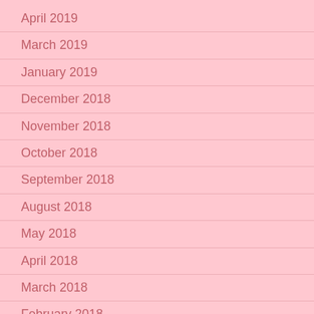April 2019
March 2019
January 2019
December 2018
November 2018
October 2018
September 2018
August 2018
May 2018
April 2018
March 2018
February 2018
December 2017
November 2017
September 2017